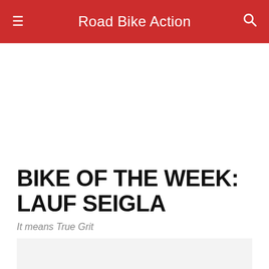Road Bike Action
BIKE OF THE WEEK: LAUF SEIGLA
It means True Grit
[Figure (photo): Placeholder image area for bike photo]